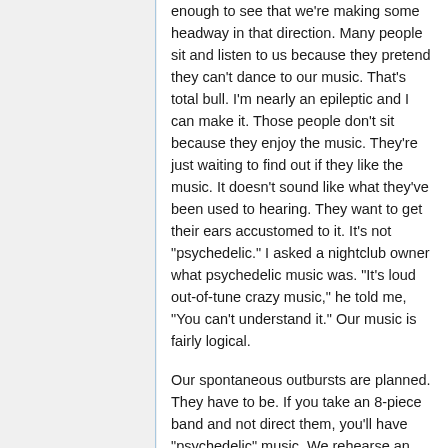enough to see that we're making some headway in that direction. Many people sit and listen to us because they pretend they can't dance to our music. That's total bull. I'm nearly an epileptic and I can make it. Those people don't sit because they enjoy the music. They're just waiting to find out if they like the music. It doesn't sound like what they've been used to hearing. They want to get their ears accustomed to it. It's not "psychedelic." I asked a nightclub owner what psychedelic music was. "It's loud out-of-tune crazy music," he told me, "You can't understand it." Our music is fairly logical.

Our spontaneous outbursts are planned. They have to be. If you take an 8-piece band and not direct them, you'll have "psychedelic" music. We rehearse an